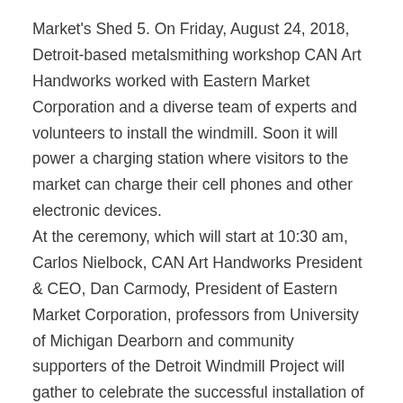Market's Shed 5. On Friday, August 24, 2018, Detroit-based metalsmithing workshop CAN Art Handworks worked with Eastern Market Corporation and a diverse team of experts and volunteers to install the windmill. Soon it will power a charging station where visitors to the market can charge their cell phones and other electronic devices. At the ceremony, which will start at 10:30 am, Carlos Nielbock, CAN Art Handworks President & CEO, Dan Carmody, President of Eastern Market Corporation, professors from University of Michigan Dearborn and community supporters of the Detroit Windmill Project will gather to celebrate the successful installation of the first of two windmills to be installed at Eastern Market. The second windmill will generate energy for a weather station for the Detroit Market Garden at Wilkins and Orleans. Both windmills were made from reclaimed or